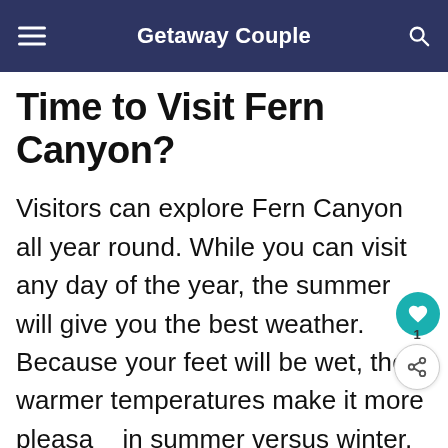Getaway Couple
Time to Visit Fern Canyon?
Visitors can explore Fern Canyon all year round. While you can visit any day of the year, the summer will give you the best weather. Because your feet will be wet, the warmer temperatures make it more pleasa… in summer versus winter. Those exploring the area in the winter wi…